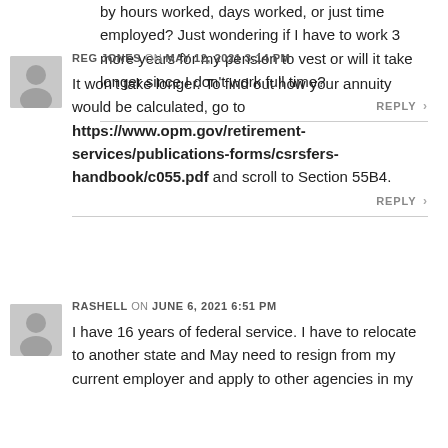by hours worked, days worked, or just time employed? Just wondering if I have to work 3 more years for my pension to vest or will it take longer since I don't work full time?
REPLY
REG JONES on MAY 12, 2021 3:14 PM
It won't take longer. To find out how your annuity would be calculated, go to https://www.opm.gov/retirement-services/publications-forms/csrsfers-handbook/c055.pdf and scroll to Section 55B4.
REPLY
RASHELL on JUNE 6, 2021 6:51 PM
I have 16 years of federal service. I have to relocate to another state and May need to resign from my current employer and apply to other agencies in my